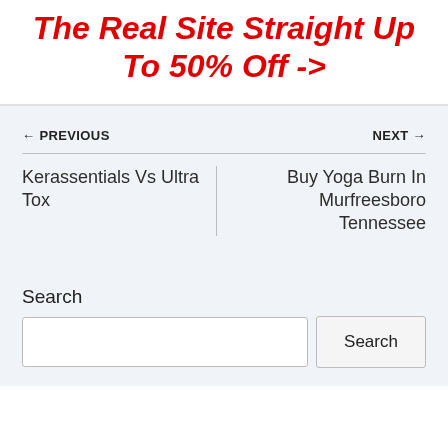The Real Site Straight Up To 50% Off ->
← PREVIOUS
Kerassentials Vs Ultra Tox
NEXT →
Buy Yoga Burn In Murfreesboro Tennessee
Search